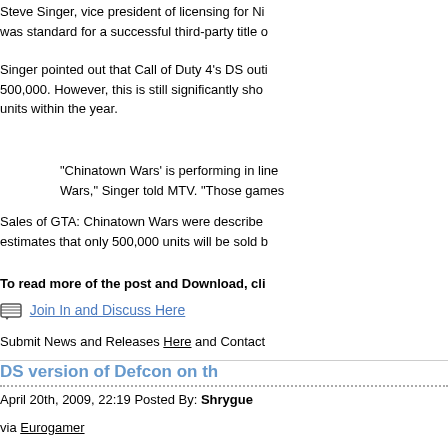Steve Singer, vice president of licensing for Ni... was standard for a successful third-party title o...
Singer pointed out that Call of Duty 4's DS outi... 500,000. However, this is still significantly sho... units within the year.
"Chinatown Wars' is performing in line... Wars," Singer told MTV. "Those games...
Sales of GTA: Chinatown Wars were described... estimates that only 500,000 units will be sold b...
To read more of the post and Download, cli...
Join In and Discuss Here
Submit News and Releases Here and Contact...
DS version of Defcon on th...
April 20th, 2009, 22:19 Posted By: Shrygue
via Eurogamer
A DS version of hit PC title Defcon is currently...
That's according to developer Introversion, whi...